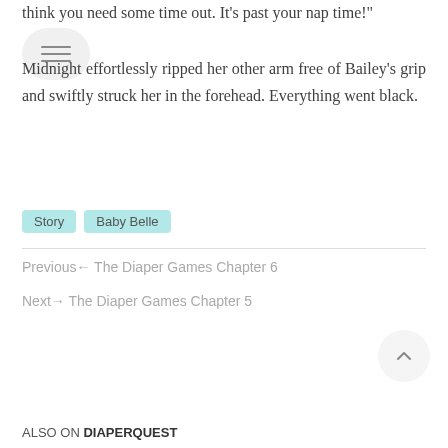think you need some time out. It's past your nap time!"
Midnight effortlessly ripped her other arm free of Bailey's grip and swiftly struck her in the forehead. Everything went black.
Story
Baby Belle
Previous← The Diaper Games Chapter 6
Next→ The Diaper Games Chapter 5
ALSO ON DIAPERQUEST